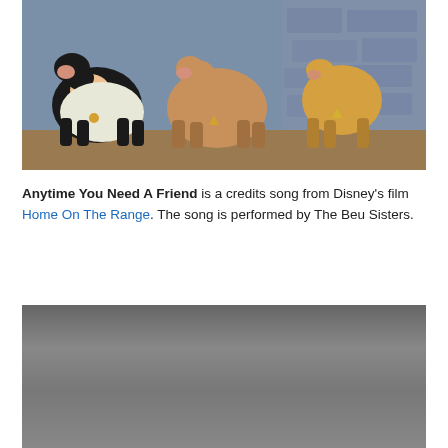[Figure (illustration): Animation still from Disney's Home On The Range showing three cartoon cows standing together, one black and white, one brown/tan in the middle, and one golden/tan on the right, with a stone wall background.]
Anytime You Need A Friend is a credits song from Disney's film Home On The Range. The song is performed by The Beu Sisters.
[Figure (screenshot): A grey/dark video player placeholder rectangle, likely an embedded video player with no visible controls.]